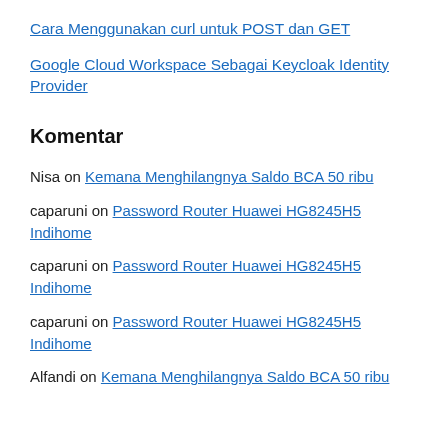Cara Menggunakan curl untuk POST dan GET
Google Cloud Workspace Sebagai Keycloak Identity Provider
Komentar
Nisa on Kemana Menghilangnya Saldo BCA 50 ribu
caparuni on Password Router Huawei HG8245H5 Indihome
caparuni on Password Router Huawei HG8245H5 Indihome
caparuni on Password Router Huawei HG8245H5 Indihome
Alfandi on Kemana Menghilangnya Saldo BCA 50 ribu